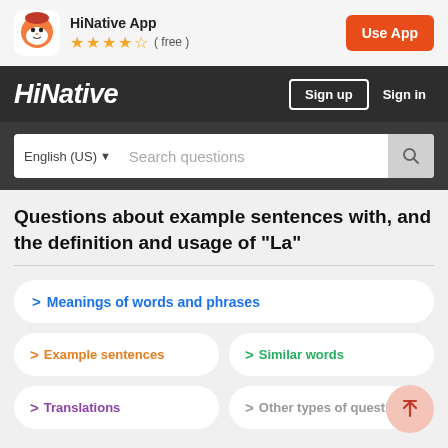HiNative App ★★★★½ ( free ) | Use App
HiNative | Sign up | Sign in
English (US) ▾  Search questions
Questions about example sentences with, and the definition and usage of "La"
> Meanings of words and phrases
> Example sentences
> Similar words
> Translations
> Other types of question...